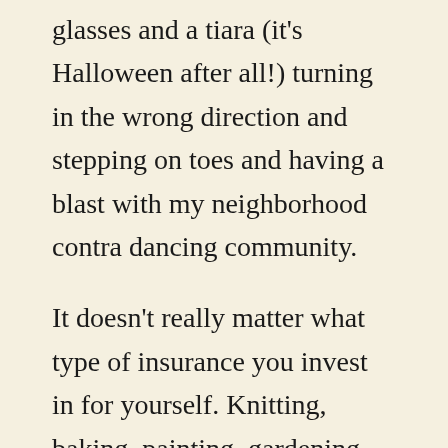glasses and a tiara (it's Halloween after all!) turning in the wrong direction and stepping on toes and having a blast with my neighborhood contra dancing community.
It doesn't really matter what type of insurance you invest in for yourself. Knitting, baking, painting, gardening, hiking, writing, singing… I could go on for ages! But I do encourage everyone to empower themselves by taking action (or stillness, as might often be more